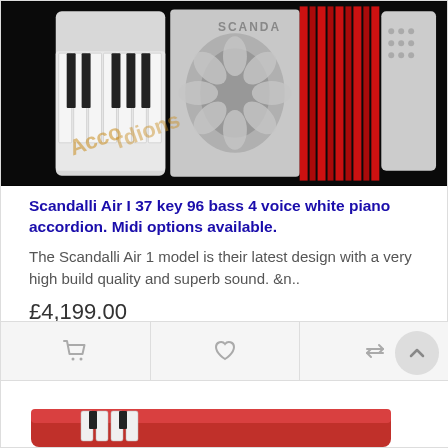[Figure (photo): White Scandalli piano accordion with red bellows on a black background, with 'Accordions' watermark text in orange/gold]
Scandalli Air I 37 key 96 bass 4 voice white piano accordion. Midi options available.
The Scandalli Air 1 model is their latest design with a very high build quality and superb sound. &n..
£4,199.00
[Figure (photo): Partial view of a second accordion product at the bottom of the page]